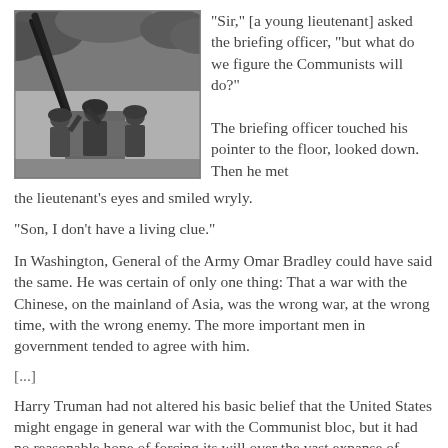[Figure (photo): Black and white photograph of soldiers operating a large anti-aircraft gun in a wooded area during the Korean War era.]
“Sir,” [a young lieutenant] asked the briefing officer, “but what do we figure the Communists will do?”
The briefing officer touched his pointer to the floor, looked down. Then he met the lieutenant’s eyes and smiled wryly.
“Son, I don’t have a living clue.”
In Washington, General of the Army Omar Bradley could have said the same. He was certain of only one thing: That a war with the Chinese, on the mainland of Asia, was the wrong war, at the wrong time, with the wrong enemy. The more important men in government tended to agree with him.
[...]
Harry Truman had not altered his basic belief that the United States might engage in general war with the Communist bloc, but it had no reasonable hope of forcing its will over the vast expanse of immense humanity of Eurasia.
[...]